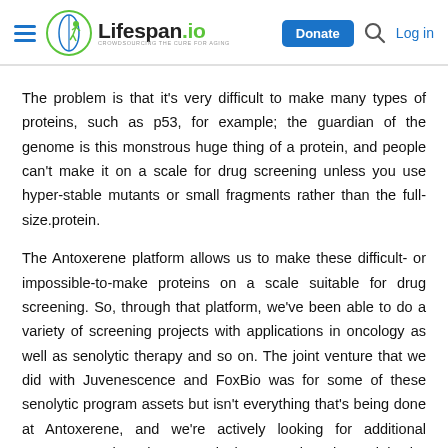Lifespan.io — Donate | Log in
The problem is that it's very difficult to make many types of proteins, such as p53, for example; the guardian of the genome is this monstrous huge thing of a protein, and people can't make it on a scale for drug screening unless you use hyper-stable mutants or small fragments rather than the full-size.protein.
The Antoxerene platform allows us to make these difficult- or impossible-to-make proteins on a scale suitable for drug screening. So, through that platform, we've been able to do a variety of screening projects with applications in oncology as well as senolytic therapy and so on. The joint venture that we did with Juvenescence and FoxBio was for some of these senolytic program assets but isn't everything that's being done at Antoxerene, and we're actively looking for additional partners at the pharmaceutical companies that might be interested in partnering with us to